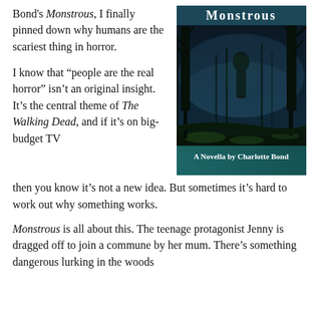Bond's Monstrous, I finally pinned down why humans are the scariest thing in horror.
[Figure (illustration): Book cover of 'Monstrous' — a dark, foggy forest scene with a shadowy figure among bare trees, dark teal/blue tones. A teal banner at bottom reads 'A Novella by Charlotte Bond'. The title 'Monstrous' appears in white serif text at the top.]
I know that “people are the real horror” isn’t an original insight. It’s the central theme of The Walking Dead, and if it’s on big-budget TV then you know it’s not a new idea. But sometimes it’s hard to work out why something works.
Monstrous is all about this. The teenage protagonist Jenny is dragged off to join a commune by her mum. There’s something dangerous lurking in the woods